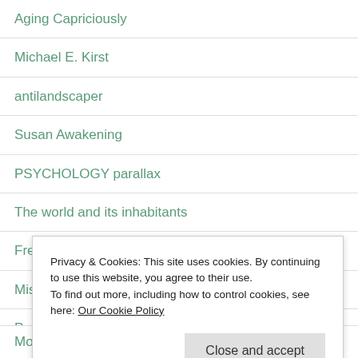Aging Capriciously
Michael E. Kirst
antilandscaper
Susan Awakening
PSYCHOLOGY parallax
The world and its inhabitants
French Baby
MisaeMich :)
Privacy & Cookies: This site uses cookies. By continuing to use this website, you agree to their use.
To find out more, including how to control cookies, see here: Our Cookie Policy
Mood Blog